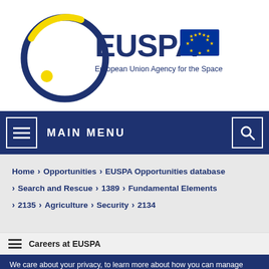[Figure (logo): EUSPA – European Union Agency for the Space Programme logo with circular design (dark blue ring with yellow crescent accent, yellow dot), EUSPA text, and EU flag]
MAIN MENU
Home > Opportunities > EUSPA Opportunities database > Search and Rescue > 1389 > Fundamental Elements > 2135 > Agriculture > Security > 2134
Careers at EUSPA
We care about your privacy, to learn more about how you can manage your consent in relation to cookies and analytics click here